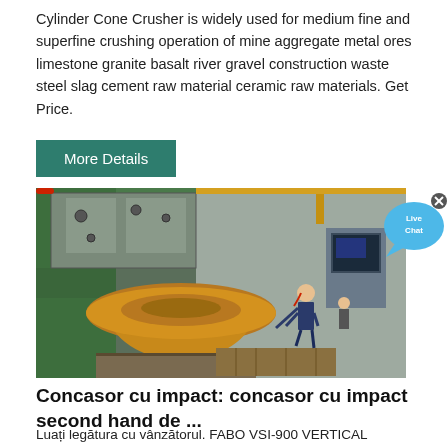Cylinder Cone Crusher is widely used for medium fine and superfine crushing operation of mine aggregate metal ores limestone granite basalt river gravel construction waste steel slag cement raw material ceramic raw materials. Get Price.
More Details
[Figure (photo): Industrial factory floor showing a large orange cone crusher component being worked on by a worker in a red hard hat and blue uniform, with green machinery and CNC equipment visible in the background.]
[Figure (illustration): Live Chat button - blue speech bubble with 'Live Chat' text and an X close button]
Concasor cu impact: concasor cu impact second hand de ...
Luați legătura cu vânzătorul. FABO VSI-900 VERTICAL SHAFT IMPACT CRUSHER | SAND MACHINE 300 TPH. preț la cerere.